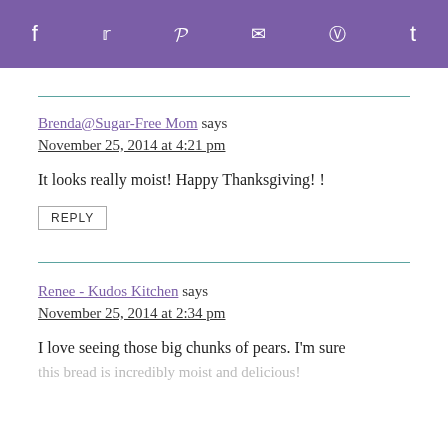f  twitter  p  mail  reddit  t
Brenda@Sugar-Free Mom says
November 25, 2014 at 4:21 pm

It looks really moist! Happy Thanksgiving! !
REPLY
Renee - Kudos Kitchen says
November 25, 2014 at 2:34 pm

I love seeing those big chunks of pears. I'm sure this bread is incredibly moist and delicious!